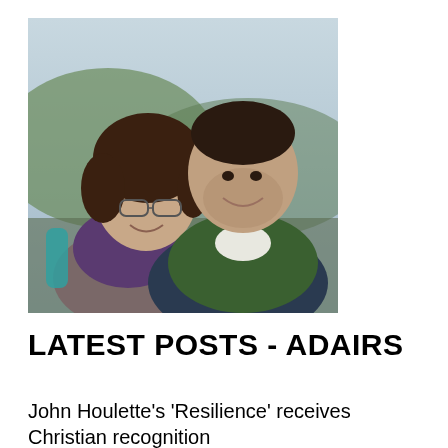[Figure (photo): A smiling couple outdoors; woman with curly hair and glasses wearing a purple scarf and backpack, man with short dark hair and stubble wearing a green jacket and white shirt, with a hilly landscape in the background.]
LATEST POSTS - ADAIRS
John Houlette's 'Resilience' receives Christian recognition